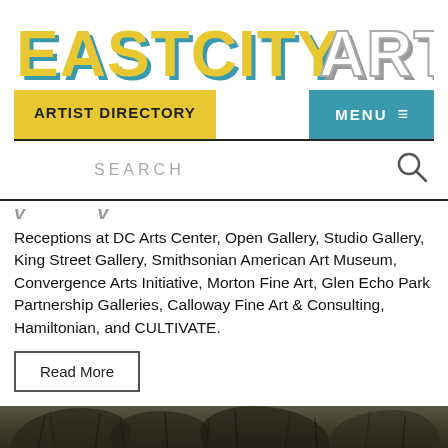EASTCITYART
ARTIST DIRECTORY
MENU ≡
SEARCH
Receptions at DC Arts Center, Open Gallery, Studio Gallery, King Street Gallery, Smithsonian American Art Museum, Convergence Arts Initiative, Morton Fine Art, Glen Echo Park Partnership Galleries, Calloway Fine Art & Consulting, Hamiltonian, and CULTIVATE.
Read More
[Figure (photo): Dark sepia/black-and-white outdoor photo showing trees or vegetation, cropped at bottom of page]